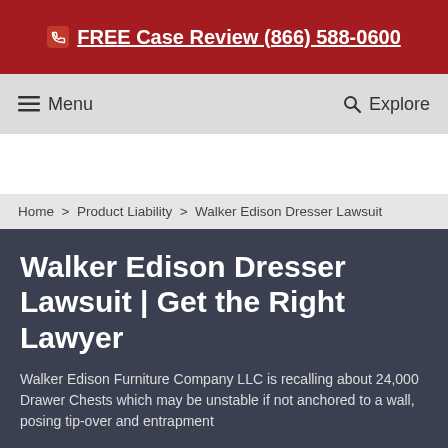FREE Case Review (866) 588-0600
Menu   Explore
Home > Product Liability > Walker Edison Dresser Lawsuit
Walker Edison Dresser Lawsuit | Get the Right Lawyer
Walker Edison Furniture Company LLC is recalling about 24,000 Drawer Chests which may be unstable if not anchored to a wall, posing tip-over and entrapment